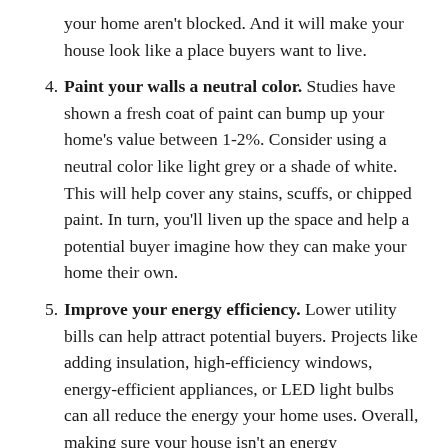your home aren't blocked. And it will make your house look like a place buyers want to live.
4. Paint your walls a neutral color. Studies have shown a fresh coat of paint can bump up your home's value between 1-2%. Consider using a neutral color like light grey or a shade of white. This will help cover any stains, scuffs, or chipped paint. In turn, you'll liven up the space and help a potential buyer imagine how they can make your home their own.
5. Improve your energy efficiency. Lower utility bills can help attract potential buyers. Projects like adding insulation, high-efficiency windows, energy-efficient appliances, or LED light bulbs can all reduce the energy your home uses. Overall, making sure your house isn't an energy